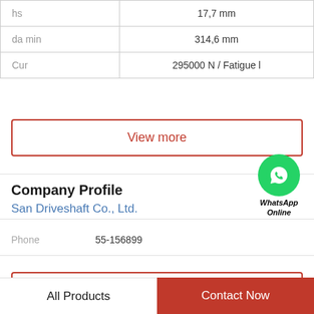| Parameter | Value |
| --- | --- |
| hs | 17,7 mm |
| da min | 314,6 mm |
| Cur | 295000 N / Fatigue l |
View more
Company Profile
San Driveshaft Co., Ltd.
Phone   55-156899
View more
[Figure (illustration): WhatsApp Online green circle icon with phone handset, labeled WhatsApp Online]
All Products   Contact Now